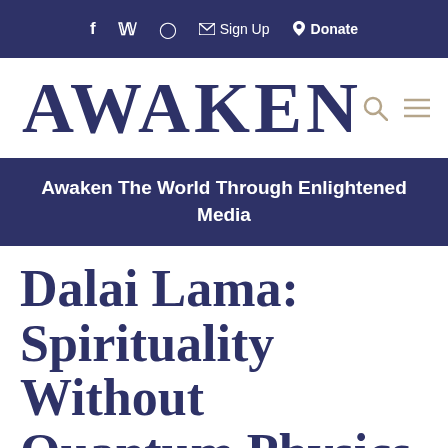f  ✓  ⊙  ✉ Sign Up  ⓟ  Donate
AWAKEN
Awaken The World Through Enlightened Media
Dalai Lama: Spirituality Without Quantum Physics Is